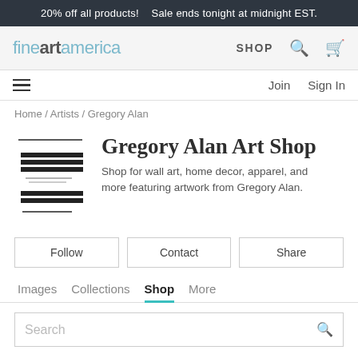20% off all products!   Sale ends tonight at midnight EST.
[Figure (logo): Fine Art America logo with 'fine' and 'america' in teal and 'art' in dark gray bold]
SHOP
Join   Sign In
Home / Artists / Gregory Alan
Gregory Alan Art Shop
Shop for wall art, home decor, apparel, and more featuring artwork from Gregory Alan.
Follow   Contact   Share
Images   Collections   Shop   More
Search